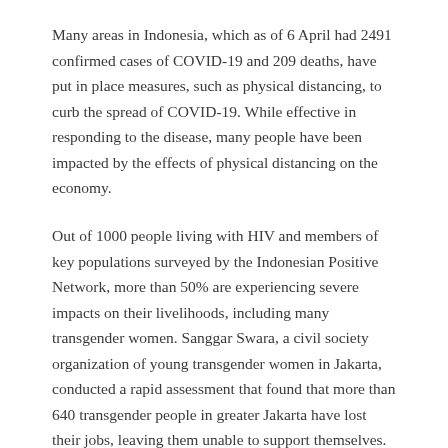Many areas in Indonesia, which as of 6 April had 2491 confirmed cases of COVID-19 and 209 deaths, have put in place measures, such as physical distancing, to curb the spread of COVID-19. While effective in responding to the disease, many people have been impacted by the effects of physical distancing on the economy.
Out of 1000 people living with HIV and members of key populations surveyed by the Indonesian Positive Network, more than 50% are experiencing severe impacts on their livelihoods, including many transgender women. Sanggar Swara, a civil society organization of young transgender women in Jakarta, conducted a rapid assessment that found that more than 640 transgender people in greater Jakarta have lost their jobs, leaving them unable to support themselves. “On several occasions when the distribution of basic food staples took place, many of them could not access it as they do not have their identity cards on hand or